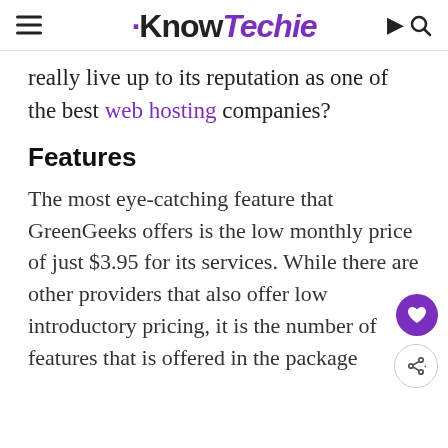KnowTechie
really live up to its reputation as one of the best web hosting companies?
Features
The most eye-catching feature that GreenGeeks offers is the low monthly price of just $3.95 for its services. While there are other providers that also offer low introductory pricing, it is the number of features that is offered in the package